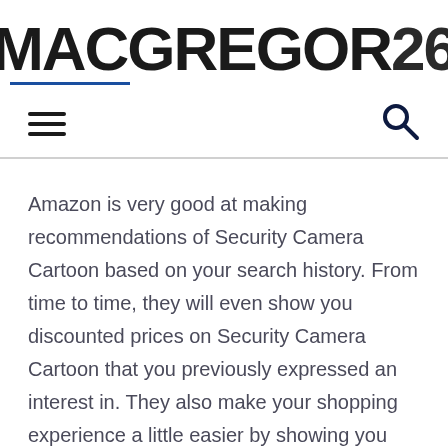MACGREGOR26
Amazon is very good at making recommendations of Security Camera Cartoon based on your search history. From time to time, they will even show you discounted prices on Security Camera Cartoon that you previously expressed an interest in. They also make your shopping experience a little easier by showing you items that you recently viewed.